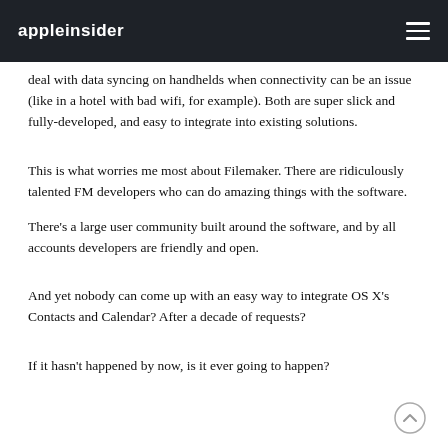appleinsider
deal with data syncing on handhelds when connectivity can be an issue (like in a hotel with bad wifi, for example). Both are super slick and fully-developed, and easy to integrate into existing solutions.
This is what worries me most about Filemaker. There are ridiculously talented FM developers who can do amazing things with the software.
There's a large user community built around the software, and by all accounts developers are friendly and open.
And yet nobody can come up with an easy way to integrate OS X's Contacts and Calendar? After a decade of requests?
If it hasn't happened by now, is it ever going to happen?